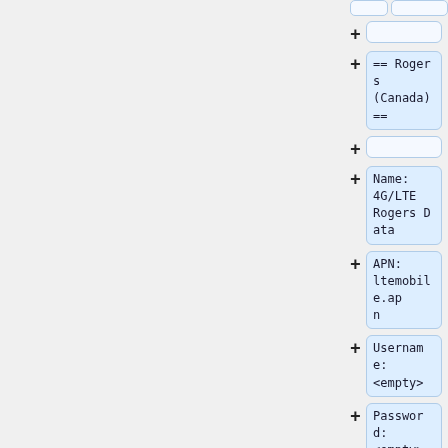[Figure (screenshot): UI screenshot showing a hierarchical list editor with expandable blocks. Left panel is gray. Right panel shows collapsible items with + buttons: empty block, '== Rogers (Canada) ==' section header, empty block, 'Name: 4G/LTE Rogers Data' block, 'APN: ltemobile.apn' block, 'Username: <empty>' block, 'Password: <empty>' block, empty block, 'Name: 3G Rogers Data' block, and a partially visible 'APN:' block at the bottom.]